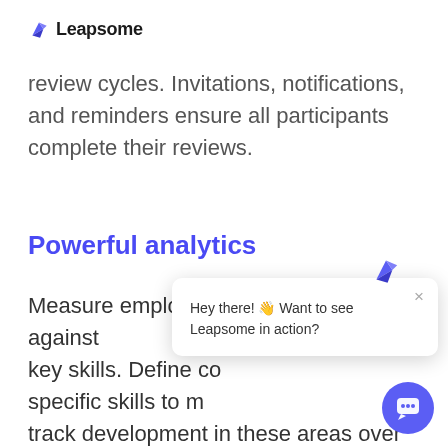Leapsome
review cycles. Invitations, notifications, and reminders ensure all participants complete their reviews.
Powerful analytics
Measure employee performance against key skills. Define company- or role-specific skills to measure, then track development in these areas over time. Understand skill gaps to improve team composition, better allocate
[Figure (screenshot): Chat popup overlay with Leapsome bird icon and text 'Hey there! 👋 Want to see Leapsome in action?' with a close button and a circular chat button at bottom right]